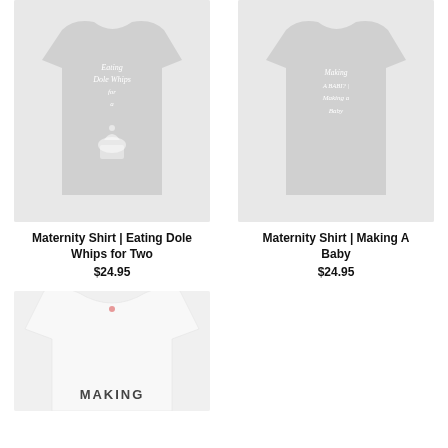[Figure (photo): Gray maternity shirt with text 'Eating Dole Whips for Two' and cupcake graphic]
Maternity Shirt | Eating Dole Whips for Two
$24.95
[Figure (photo): Gray maternity shirt with text 'Making A Baby']
Maternity Shirt | Making A Baby
$24.95
[Figure (photo): White maternity shirt with text 'MAKING' visible at bottom of page]